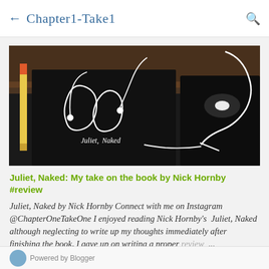← Chapter1-Take1
[Figure (photo): Dark book cover of 'Juliet, Naked' with white earphone cord forming face silhouettes, and a red/yellow pencil on the left side, with glowing USB lamp on the right]
Juliet, Naked: My take on the book by Nick Hornby #review
Juliet, Naked by Nick Hornby Connect with me on Instagram @ChapterOneTakeOne I enjoyed reading Nick Hornby's  Juliet, Naked although neglecting to write up my thoughts immediately after finishing the book, I gave up on writing a proper review ...